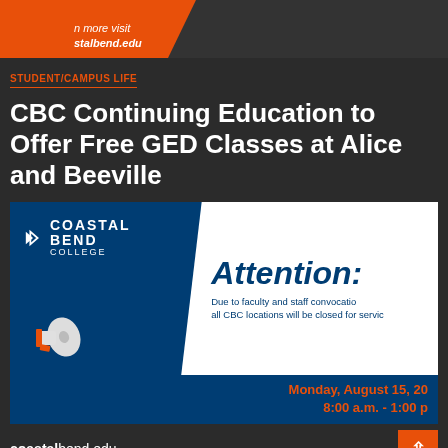[Figure (screenshot): Top banner showing orange background with text 'n more visit stalbend.edu' and a person using a laptop]
STUDENT/CAMPUS LIFE
CBC Continuing Education to Offer Free GED Classes at Alice and Beeville
[Figure (infographic): Coastal Bend College attention announcement banner. Left side dark blue with CBC logo and megaphone icon. Right side white with text: 'Attention: Due to faculty and staff convocation all CBC locations will be closed for services Monday, August 15, 20[22] 8:00 a.m. - 1:00 p[m]']
coastalbend.edu
ALICE   BEEVILLE   KINGSVILLE   PLEASANTON
All CBC Locations Closed August 15 – 8:00